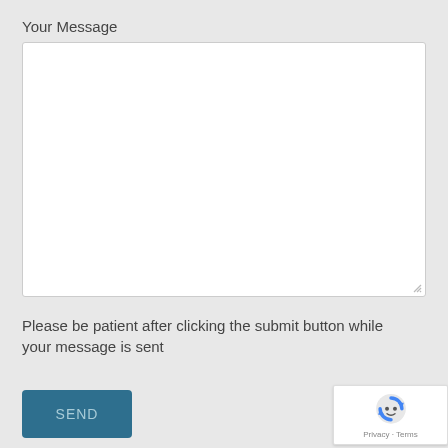Your Message
[Figure (screenshot): Empty white textarea input field with resize handle in bottom-right corner]
Please be patient after clicking the submit button while your message is sent
[Figure (screenshot): Blue SEND button]
[Figure (screenshot): reCAPTCHA badge with robot icon and Privacy · Terms links]